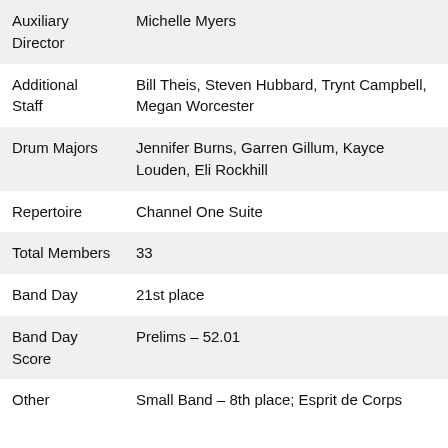| Field | Value |
| --- | --- |
| Auxiliary Director | Michelle Myers |
| Additional Staff | Bill Theis, Steven Hubbard, Trynt Campbell, Megan Worcester |
| Drum Majors | Jennifer Burns, Garren Gillum, Kayce Louden, Eli Rockhill |
| Repertoire | Channel One Suite |
| Total Members | 33 |
| Band Day | 21st place |
| Band Day Score | Prelims – 52.01 |
| Other | Small Band – 8th place; Esprit de Corps |